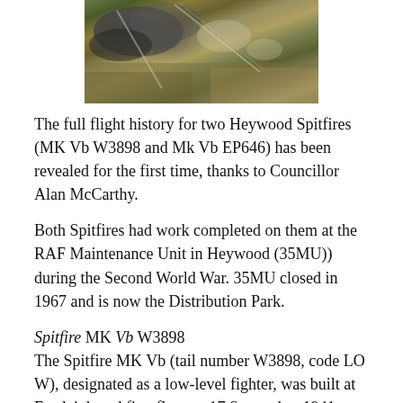[Figure (photo): A wartime painting or photograph showing smoke clouds and landscape, likely depicting an aerial scene from World War II.]
The full flight history for two Heywood Spitfires (MK Vb W3898 and Mk Vb EP646) has been revealed for the first time, thanks to Councillor Alan McCarthy.
Both Spitfires had work completed on them at the RAF Maintenance Unit in Heywood (35MU)) during the Second World War. 35MU closed in 1967 and is now the Distribution Park.
Spitfire MK Vb W3898
The Spitfire MK Vb (tail number W3898, code LO W), designated as a low-level fighter, was built at Eastleigh and first flew on 17 September 1941, presumably having had long range tanks fitted at